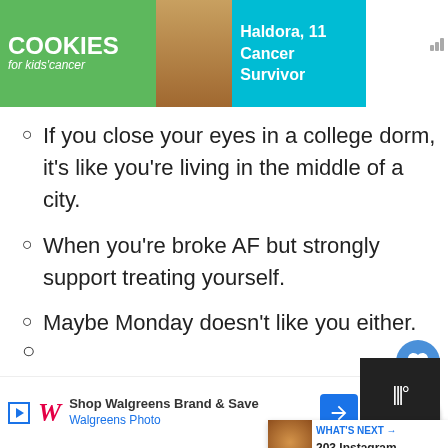[Figure (screenshot): Advertisement banner for Cookies for Kids Cancer featuring Haldora, 11, Cancer Survivor]
If you close your eyes in a college dorm, it's like you're living in the middle of a city.
When you're broke AF but strongly support treating yourself.
Maybe Monday doesn't like you either.
A friend of the devil is a friend of mine.
This is the time for small paychec… memories.
[Figure (screenshot): WHAT'S NEXT: 203 Instagram Captions for...]
[Figure (screenshot): Walgreens advertisement: Shop Walgreens Brand & Save - Walgreens Photo]